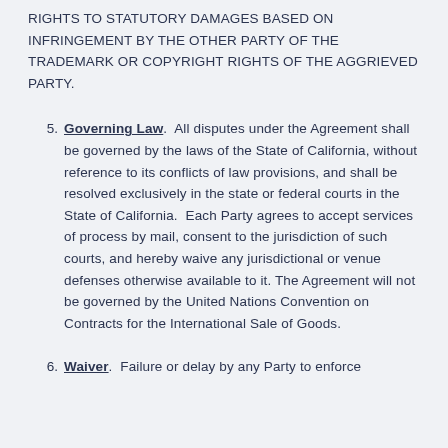RIGHTS TO STATUTORY DAMAGES BASED ON INFRINGEMENT BY THE OTHER PARTY OF THE TRADEMARK OR COPYRIGHT RIGHTS OF THE AGGRIEVED PARTY.
5. Governing Law. All disputes under the Agreement shall be governed by the laws of the State of California, without reference to its conflicts of law provisions, and shall be resolved exclusively in the state or federal courts in the State of California. Each Party agrees to accept services of process by mail, consent to the jurisdiction of such courts, and hereby waive any jurisdictional or venue defenses otherwise available to it. The Agreement will not be governed by the United Nations Convention on Contracts for the International Sale of Goods.
6. Waiver. Failure or delay by any Party to enforce any compliance with any term or condition of the